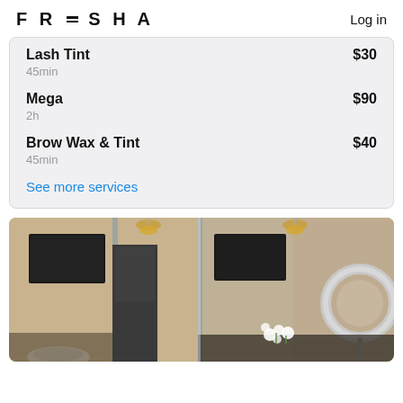FRESHA   Log in
Lash Tint
45min
$30
Mega
2h
$90
Brow Wax & Tint
45min
$40
See more services
[Figure (photo): Interior of a beauty salon showing mirrors, dark TV screens mounted on walls, pendant gold lights, a ring light, white floral decorations on a counter, and styling stations.]